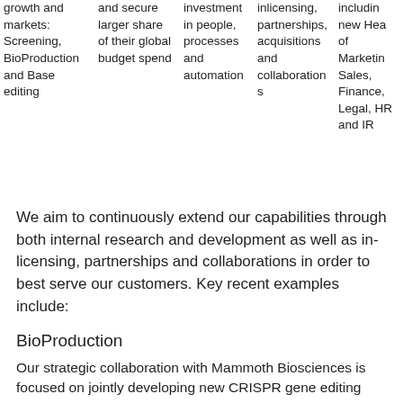| growth and markets: Screening, BioProduction and Base editing | and secure larger share of their global budget spend | investment in people, processes and automation | inlicensing, partnerships, acquisitions and collaborations | including new Head of Marketing Sales, Finance, Legal, HR and IR |
We aim to continuously extend our capabilities through both internal research and development as well as in-licensing, partnerships and collaborations in order to best serve our customers. Key recent examples include:
BioProduction
Our strategic collaboration with Mammoth Biosciences is focused on jointly developing new CRISPR gene editing tools to provide the next generation of engineered Chinese Hamster Ovary (CHO)